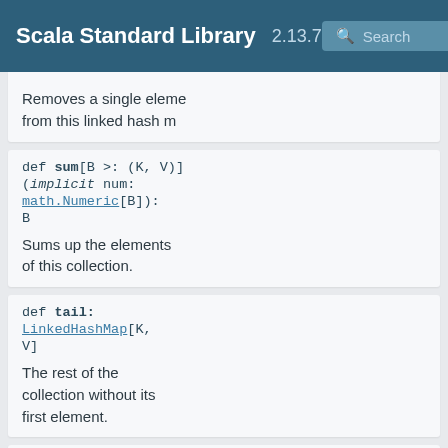Scala Standard Library 2.13.7 Search
Removes a single element from this linked hash map.
def sum[B >: (K, V)](implicit num: math.Numeric[B]): B
Sums up the elements of this collection.
def tail: LinkedHashMap[K, V]
The rest of the collection without its first element.
def tails: Iterator[LinkedHashMap[K, V]]
Iterates over the tails of linked hash map.